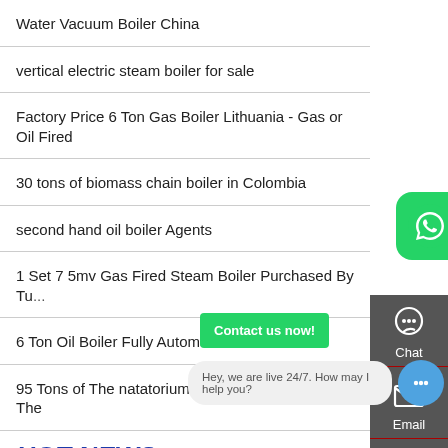Water Vacuum Boiler China
vertical electric steam boiler for sale
Factory Price 6 Ton Gas Boiler Lithuania - Gas or Oil Fired
30 tons of biomass chain boiler in Colombia
second hand oil boiler Agents
1 Set 7 5mv Gas Fired Steam Boiler Purchased By Tu...
6 Ton Oil Boiler Fully Automatic Ukraine
95 Tons of The natatorium Liqu...petroleum...The
HOT NEWS
piyushcal3 vsnl net in boiler Agent
[Figure (screenshot): Right sidebar with Chat, Email, Contact icons on dark grey background]
[Figure (screenshot): WhatsApp green bubble icon and 'Contact us now!' green button overlay]
[Figure (screenshot): Live chat bar saying 'Hey, we are live 24/7. How may I help you?' with blue chat circle button]